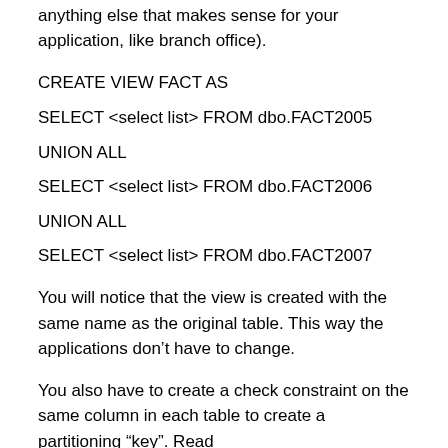anything else that makes sense for your application, like branch office).
CREATE VIEW FACT AS
SELECT <select list> FROM dbo.FACT2005
UNION ALL
SELECT <select list> FROM dbo.FACT2006
UNION ALL
SELECT <select list> FROM dbo.FACT2007
You will notice that the view is created with the same name as the original table. This way the applications don’t have to change.
You also have to create a check constraint on the same column in each table to create a partitioning “key”. Read